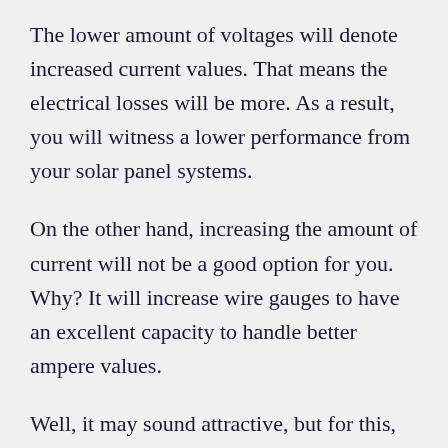The lower amount of voltages will denote increased current values. That means the electrical losses will be more. As a result, you will witness a lower performance from your solar panel systems.
On the other hand, increasing the amount of current will not be a good option for you. Why? It will increase wire gauges to have an excellent capacity to handle better ampere values.
Well, it may sound attractive, but for this, you will have to deal with more installation costs